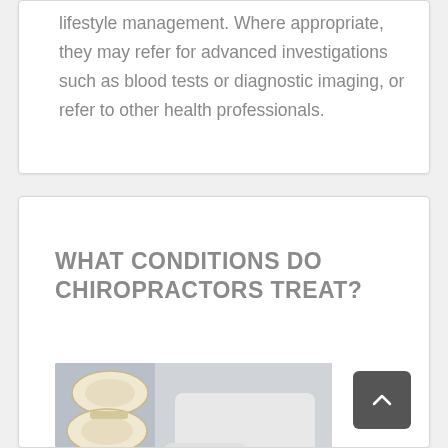lifestyle management. Where appropriate, they may refer for advanced investigations such as blood tests or diagnostic imaging, or refer to other health professionals.
WHAT CONDITIONS DO CHIROPRACTORS TREAT?
[Figure (photo): A person in a white lab coat holding a blue pen pointing at a spine model, showing vertebrae bones.]